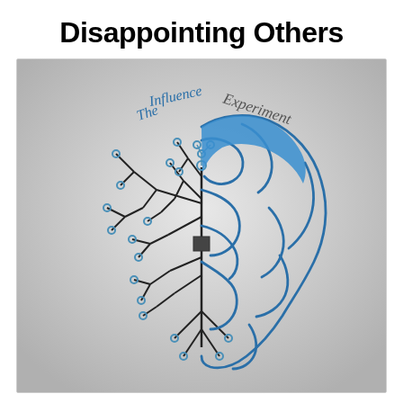Disappointing Others
[Figure (illustration): Half brain illustration: left half shows a circuit board/PCB tree pattern in black lines with blue circular terminals, right half shows a hand-drawn blue brain with organic wavy lines. Text arching over the top reads 'The Influence' on the left in blue cursive and 'Experiment' on the right in grey cursive. A small black rectangle connects the two halves at center. Background is light grey gradient.]